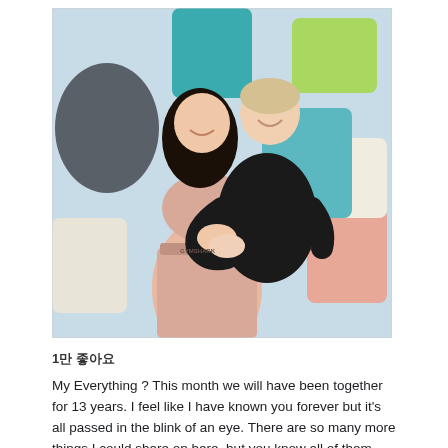[Figure (photo): A couple embracing and smiling in front of colorful fabric/pillow backdrop. Woman in pink crop top and high-waisted pants, man in black fitted shirt hugging her from behind.]
1만 좋아요
My Everything ? This month we will have been together for 13 years. I feel like I have known you forever but it's all passed in the blink of an eye. There are so many more things I could share on here, but you know all of them already. I'm so excited for life and to get to spend it with you. Thank you @benmoreland for being the